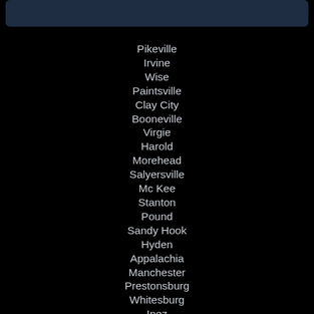Pikeville
Irvine
Wise
Paintsville
Clay City
Booneville
Virgie
Harold
Morehead
Salyersville
Mc Kee
Stanton
Pound
Sandy Hook
Hyden
Appalachia
Manchester
Prestonsburg
Whitesburg
Inez
Jeffersonville
Cumberland